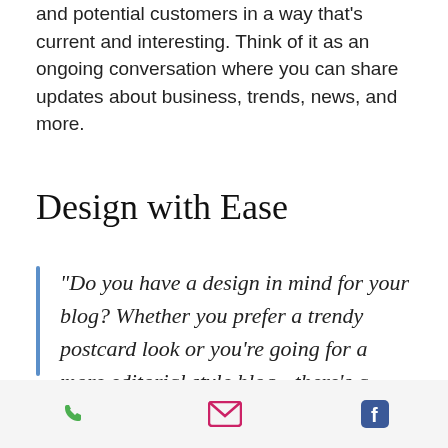and potential customers in a way that's current and interesting. Think of it as an ongoing conversation where you can share updates about business, trends, news, and more.
Design with Ease
“Do you have a design in mind for your blog? Whether you prefer a trendy postcard look or you’re going for a more editorial style blog - there’s a stunning layout for everyone.”
phone | email | facebook